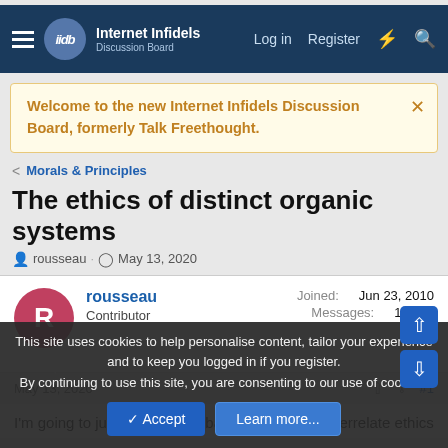Internet Infidels Discussion Board — Log in  Register
Welcome to the new Internet Infidels Discussion Board, formerly Talk Freethought.
< Morals & Principles
The ethics of distinct organic systems
rousseau · May 13, 2020
rousseau
Contributor
Joined: Jun 23, 2010
Messages: 12,333
May 13, 2020  #1
I'm going to jump over a few barriers here and interrelate ethics
This site uses cookies to help personalise content, tailor your experience and to keep you logged in if you register.
By continuing to use this site, you are consenting to our use of cookies.
Accept  Learn more...